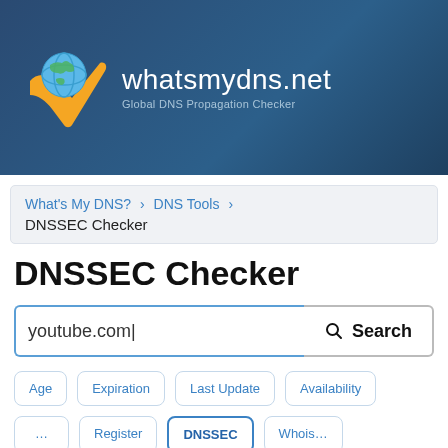[Figure (logo): whatsmydns.net logo with globe and checkmark icon, text 'whatsmydns.net' and subtitle 'Global DNS Propagation Checker' on dark blue banner background]
What's My DNS? > DNS Tools > DNSSEC Checker
DNSSEC Checker
youtube.com|  [Search button]
Age  Expiration  Last Update  Availability
... Register  DNSSEC  Whois...